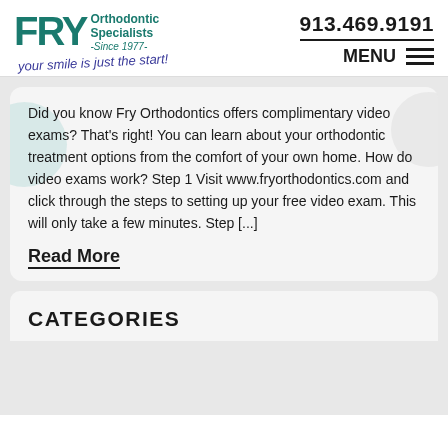[Figure (logo): FRY Orthodontic Specialists -Since 1977- logo with tagline 'Your smile is just the start!']
913.469.9191
MENU
Did you know Fry Orthodontics offers complimentary video exams? That's right! You can learn about your orthodontic treatment options from the comfort of your own home. How do video exams work? Step 1 Visit www.fryorthodontics.com and click through the steps to setting up your free video exam. This will only take a few minutes. Step [...]
Read More
CATEGORIES